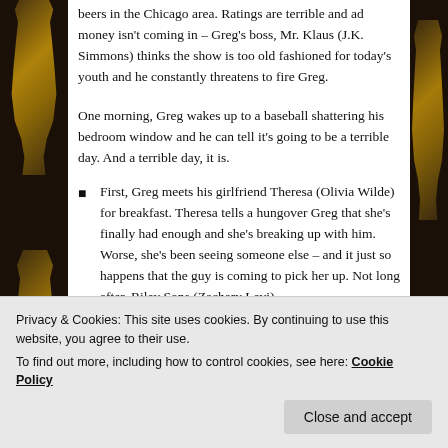beers in the Chicago area. Ratings are terrible and ad money isn't coming in – Greg's boss, Mr. Klaus (J.K. Simmons) thinks the show is too old fashioned for today's youth and he constantly threatens to fire Greg.
One morning, Greg wakes up to a baseball shattering his bedroom window and he can tell it's going to be a terrible day. And a terrible day, it is.
First, Greg meets his girlfriend Theresa (Olivia Wilde) for breakfast. Theresa tells a hungover Greg that she's finally had enough and she's breaking up with him. Worse, she's been seeing someone else – and it just so happens that the guy is coming to pick her up. Not long after, Riley Sons (Zachary Levi) driving.
Privacy & Cookies: This site uses cookies. By continuing to use this website, you agree to their use.
To find out more, including how to control cookies, see here: Cookie Policy
Close and accept